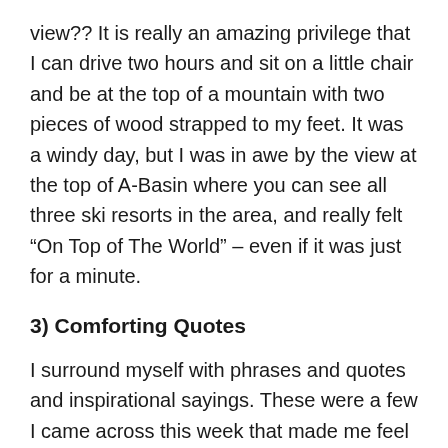view?? It is really an amazing privilege that I can drive two hours and sit on a little chair and be at the top of a mountain with two pieces of wood strapped to my feet. It was a windy day, but I was in awe by the view at the top of A-Basin where you can see all three ski resorts in the area, and really felt “On Top of The World” – even if it was just for a minute.
3) Comforting Quotes
I surround myself with phrases and quotes and inspirational sayings. These were a few I came across this week that made me feel more grounded, and reminded myself that I am my own biggest critic.
“Always remember YOU are NOT what you DO, you are YOU….”